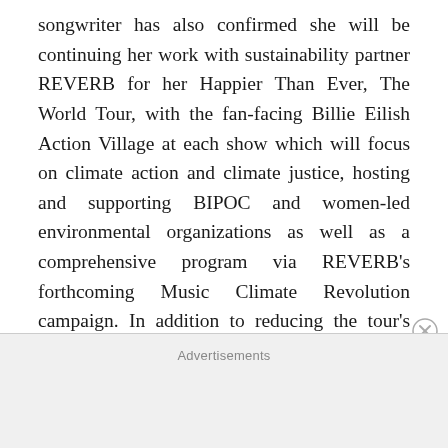songwriter has also confirmed she will be continuing her work with sustainability partner REVERB for her Happier Than Ever, The World Tour, with the fan-facing Billie Eilish Action Village at each show which will focus on climate action and climate justice, hosting and supporting BIPOC and women-led environmental organizations as well as a comprehensive program via REVERB's forthcoming Music Climate Revolution campaign. In addition to reducing the tour's environmental footprint, the initiative will support projects that directly and measurably eliminate greenhouse gases. These collective efforts will make the tour Climate Positive; eliminating significantly more emissions than the tour creates.
Advertisements